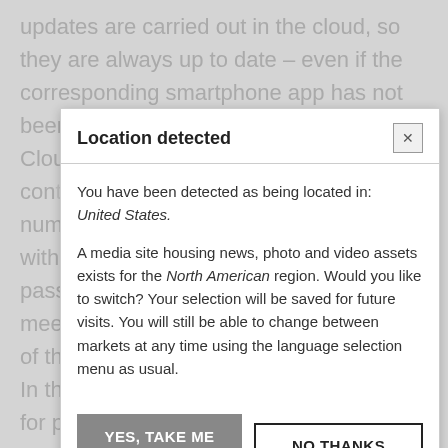updates are carried out in the cloud, so they are always up to date – even if the corresponding smartphone app has not been updated. The Cloud... [background text, partially visible] Customers can also take their digital landscape with them when swapping between Jaguar and Land Rover vehicles, providing instant familiarity in multi-
[Figure (screenshot): A modal dialog box titled 'Location detected' with an X close button. The body text reads: 'You have been detected as being located in: United States. A media site housing news, photo and video assets exists for the North American region. Would you like to switch? Your selection will be saved for future visits. You will still be able to change between markets at any time using the language selection menu as usual.' Two buttons: 'YES, TAKE ME THERE' (gray filled) and 'NO THANKS' (white with black border).]